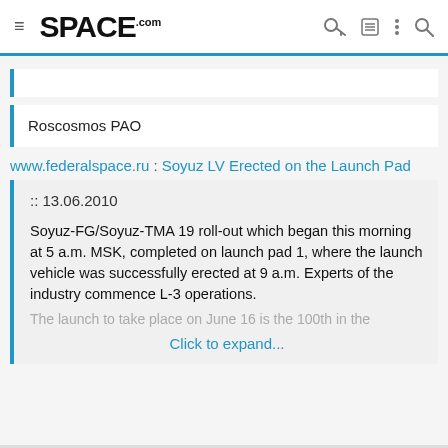SPACE.com — navigation bar with hamburger menu, logo, and icons
Roscosmos PAO
www.federalspace.ru : Soyuz LV Erected on the Launch Pad
:: 13.06.2010

Soyuz-FG/Soyuz-TMA 19 roll-out which began this morning at 5 a.m. MSK, completed on launch pad 1, where the launch vehicle was successfully erected at 9 a.m. Experts of the industry commence L-3 operations.
The launch to take place on June 16 is the 100th in the

Click to expand...